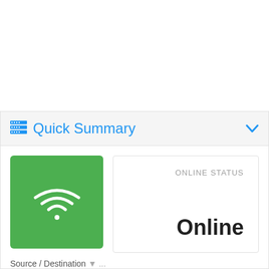Quick Summary
[Figure (infographic): Green square icon with white WiFi symbol (curved arcs and dot)]
ONLINE STATUS
Online